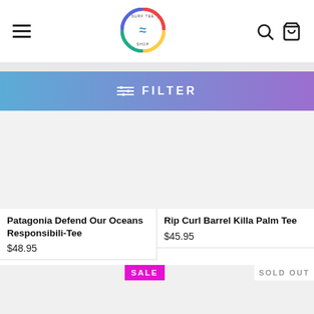[Figure (logo): Circular rainbow-bordered surf brand logo in header center]
FILTER
Patagonia Defend Our Oceans Responsibili-Tee
$48.95
Rip Curl Barrel Killa Palm Tee
$45.95
SALE
SOLD OUT